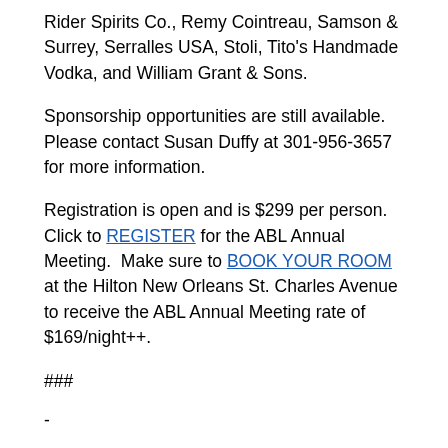Rider Spirits Co., Remy Cointreau, Samson & Surrey, Serralles USA, Stoli, Tito's Handmade Vodka, and William Grant & Sons.
Sponsorship opportunities are still available. Please contact Susan Duffy at 301-956-3657 for more information.
Registration is open and is $299 per person. Click to REGISTER for the ABL Annual Meeting. Make sure to BOOK YOUR ROOM at the Hilton New Orleans St. Charles Avenue to receive the ABL Annual Meeting rate of $169/night++.
###
-
American Beverage Licensees is the preeminent national trade association for beverage alcohol